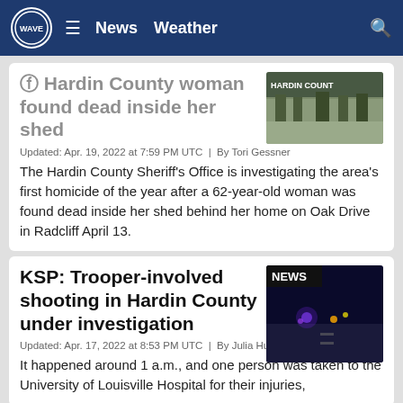WAVE | News Weather
Hardin County woman found dead inside her shed
Updated: Apr. 19, 2022 at 7:59 PM UTC  |  By Tori Gessner
The Hardin County Sheriff's Office is investigating the area's first homicide of the year after a 62-year-old woman was found dead inside her shed behind her home on Oak Drive in Radcliff April 13.
KSP: Trooper-involved shooting in Hardin County under investigation
Updated: Apr. 17, 2022 at 8:53 PM UTC  |  By Julia Huffman
It happened around 1 a.m., and one person was taken to the University of Louisville Hospital for their injuries,